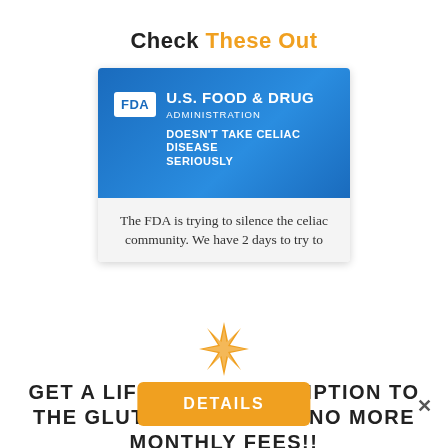Check These Out
[Figure (screenshot): FDA card showing 'U.S. Food & Drug Administration doesn't take celiac disease seriously' with text 'The FDA is trying to silence the celiac community. We have 2 days to try to...']
[Figure (illustration): Orange starburst / asterisk decorative element]
GET A LIFETIME SUBSCRIPTION TO THE GLUTEN DUDE APP. NO MORE MONTHLY FEES!!
DETAILS